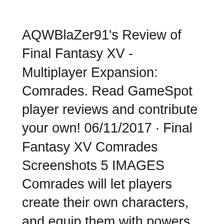AQWBlaZer91's Review of Final Fantasy XV - Multiplayer Expansion: Comrades. Read GameSpot player reviews and contribute your own! 06/11/2017 · Final Fantasy XV Comrades Screenshots 5 IMAGES Comrades will let players create their own characters, and equip them with powers from the Lucian bloodline that gives Noctis his abilities.
22/11/2017 · WARNING: This review contains spoilers for Final Fantasy XV and the film Kingsglaive: Final Fantasy XV.. The Final Fantasy franchise isn't a stranger to multiplayer. The main numbered series has two MMOs in its line — Final Fantasy XI and Final Fant...